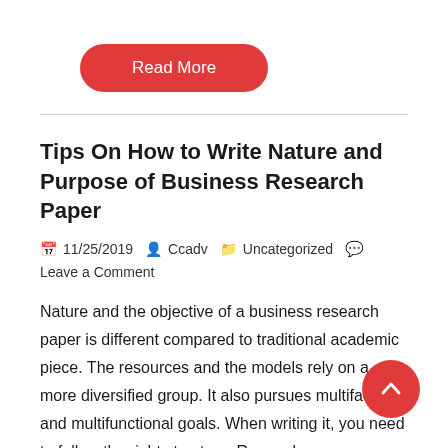[Figure (other): Red 'Read More' button with rounded corners]
Tips On How to Write Nature and Purpose of Business Research Paper
11/25/2019  Ccadv  Uncategorized  Leave a Comment
Nature and the objective of a business research paper is different compared to traditional academic piece. The resources and the models rely on a more diversified group. It also pursues multifaceted and multifunctional goals. When writing it, you need to follow the right structure. Remember, your paper has